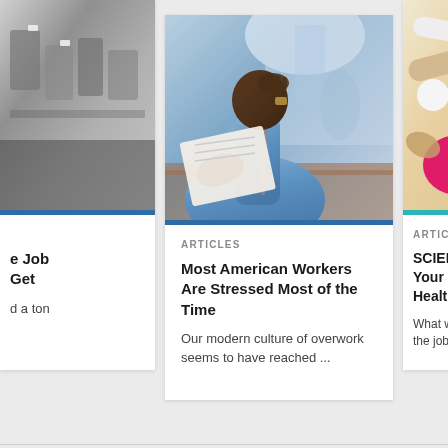[Figure (photo): Partial left card: black and white photo of what appears to be tagged bags or items on shelves]
e Job
Get
d a ton
[Figure (photo): Center card: photo of a stressed Black man in a blue shirt and tie holding his head with one hand and a document with the other, seated at a desk in an office environment]
ARTICLES
Most American Workers Are Stressed Most of the Time
Our modern culture of overwork seems to have reached ...
[Figure (photo): Partial right card: colorful photo of assorted pills and capsules in various colors including pink, white, red, and orange]
ARTIC
SCIEN
Your :
Healt
What w
the job